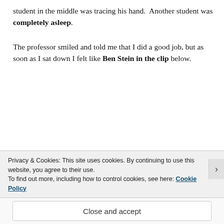student in the middle was tracing his hand.  Another student was completely asleep.
The professor smiled and told me that I did a good job, but as soon as I sat down I felt like Ben Stein in the clip below.
[Figure (screenshot): Embedded YouTube video thumbnail showing a bored student's face close-up with title 'Boring Economics Teacher' and a red play button overlay. Channel icon shows letter 'a' in teal circle.]
Privacy & Cookies: This site uses cookies. By continuing to use this website, you agree to their use.
To find out more, including how to control cookies, see here: Cookie Policy
Close and accept